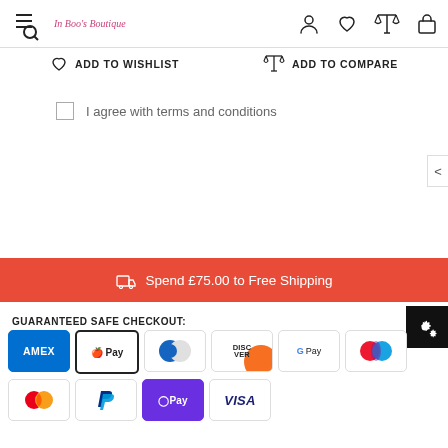[Figure (screenshot): E-commerce website header with hamburger+search icon, logo 'In Boo's Boutique', and user/wishlist/compare/cart icons]
ADD TO WISHLIST   ADD TO COMPARE
I agree with terms and conditions
Spend £75.00 to Free Shipping
GUARANTEED SAFE CHECKOUT:
[Figure (infographic): Payment method logos: AMEX, Apple Pay, Diners Club, Discover, Google Pay, Mastercard (overlapping circles), Mastercard, PayPal, OPay, VISA]